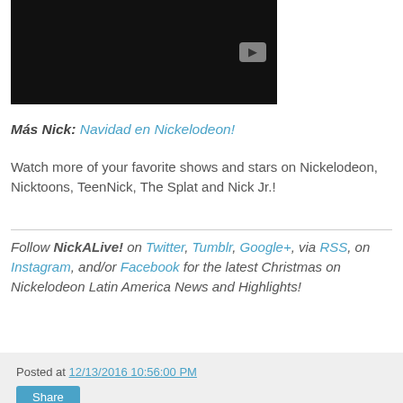[Figure (screenshot): Black video player thumbnail with a YouTube-style play button in the lower-right corner]
Más Nick: Navidad en Nickelodeon!
Watch more of your favorite shows and stars on Nickelodeon, Nicktoons, TeenNick, The Splat and Nick Jr.!
Follow NickALive! on Twitter, Tumblr, Google+, via RSS, on Instagram, and/or Facebook for the latest Christmas on Nickelodeon Latin America News and Highlights!
Posted at 12/13/2016 10:56:00 PM
Share
Nick Africa Spreads The Nickmas Cheer With Nickelodeon In The City At Sandton City Centre